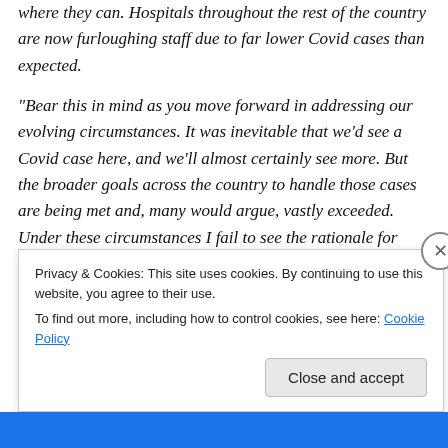where they can. Hospitals throughout the rest of the country are now furloughing staff due to far lower Covid cases than expected.
“Bear this in mind as you move forward in addressing our evolving circumstances. It was inevitable that we’d see a Covid case here, and we’ll almost certainly see more. But the broader goals across the country to handle those cases are being met and, many would argue, vastly exceeded. Under these circumstances I fail to see the rationale for taking some of the suggested measures that would be damaging to our company and our customers.”
Privacy & Cookies: This site uses cookies. By continuing to use this website, you agree to their use. To find out more, including how to control cookies, see here: Cookie Policy